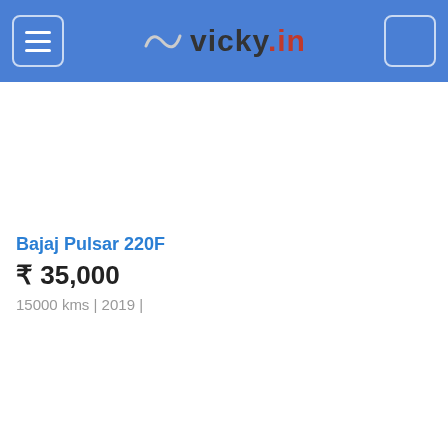vicky.in
Bajaj Pulsar 220F
₹ 35,000
15000 kms | 2019 |
Bajaj Pulsar 220F